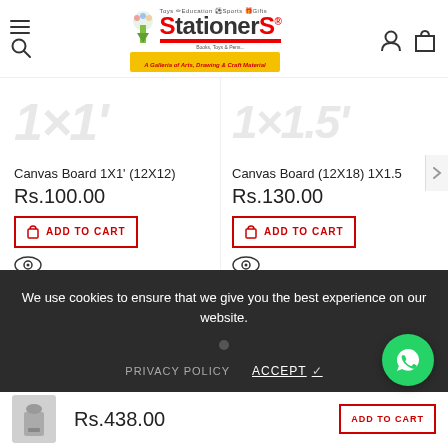Stationers.pk - A Galleria of Arts, Drawing & Craft Material
[Figure (screenshot): Product card: Canvas Board 1X1' (12X12) showing size text '1x1'' in light gray]
Canvas Board 1X1' (12X12)
Rs.100.00
ADD TO CART
[Figure (screenshot): Product card: Canvas Board (12X18) 1X1.5 showing size text '1x1.5'' in light gray]
Canvas Board (12X18) 1X1.5
Rs.130.00
ADD TO CART
We use cookies to ensure that we give you the best experience on our website.
PRIVACY POLICY
ACCEPT ✓
Rs.438.00
ADD TO CART